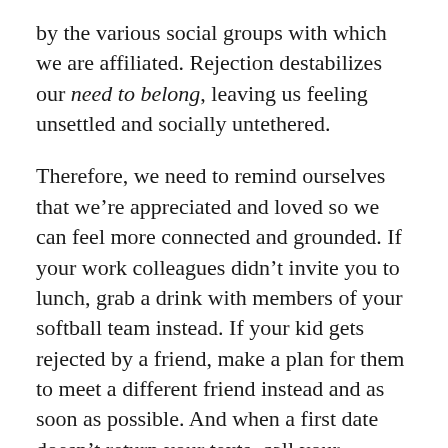by the various social groups with which we are affiliated. Rejection destabilizes our need to belong, leaving us feeling unsettled and socially untethered.
Therefore, we need to remind ourselves that we're appreciated and loved so we can feel more connected and grounded. If your work colleagues didn't invite you to lunch, grab a drink with members of your softball team instead. If your kid gets rejected by a friend, make a plan for them to meet a different friend instead and as soon as possible. And when a first date doesn't return your texts, call your grandparents and remind yourself that your voice alone brings joy to others.
Rejection is never easy but knowing how to limit the psychological damage it inflicts, and how to rebuild